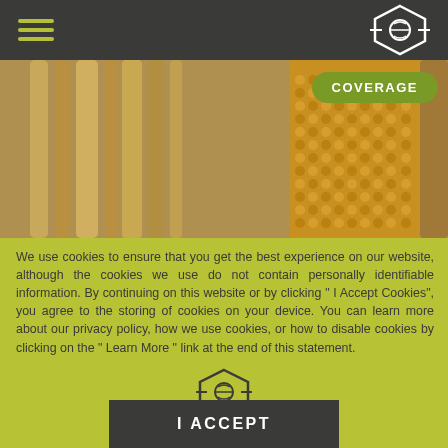Navigation header with hamburger menu and logo
[Figure (photo): Close-up photo of corn ears with husks, yellowish-golden kernels visible. COVERAGE badge overlaid top right.]
We use cookies to ensure that you get the best experience on our website, although the cookies we use do not contain personally identifiable information. By continuing on this website or by clicking " I Accept Cookies", you agree to the storing of cookies on your device. You can learn more about our privacy policy, how we use cookies, or how to disable cookies by clicking on the " Learn More " link at the end of this statement.
[Figure (logo): Hexagonal shield logo in center of green area]
I ACCEPT
LEARN MORE